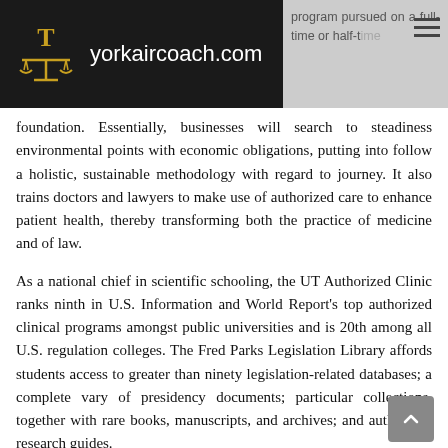yorkaircoach.com
program pursued on a full-time or half-time foundation. Essentially, businesses will search to steadiness environmental points with economic obligations, putting into follow a holistic, sustainable methodology with regard to journey. It also trains doctors and lawyers to make use of authorized care to enhance patient health, thereby transforming both the practice of medicine and of law.
As a national chief in scientific schooling, the UT Authorized Clinic ranks ninth in U.S. Information and World Report's top authorized clinical programs amongst public universities and is 20th among all U.S. regulation colleges. The Fred Parks Legislation Library affords students access to greater than ninety legislation-related databases; a complete vary of presidency documents; particular collections, together with rare books, manuscripts, and archives; and authorized research guides.